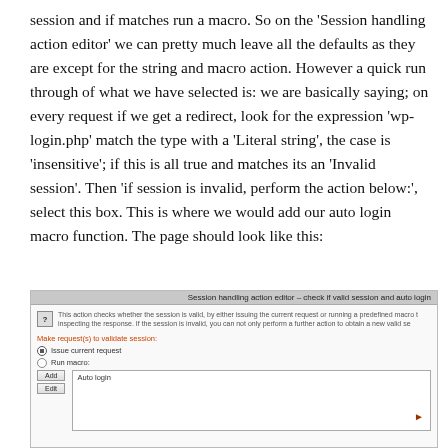session and if matches run a macro. So on the 'Session handling action editor' we can pretty much leave all the defaults as they are except for the string and macro action. However a quick run through of what we have selected is: we are basically saying; on every request if we get a redirect, look for the expression 'wp-login.php' match the type with a 'Literal string', the case is 'insensitive'; if this is all true and matches its an 'Invalid session'. Then 'if session is invalid, perform the action below:', select this box. This is where we would add our auto login macro function. The page should look like this:
[Figure (screenshot): Screenshot of 'Session handling action editor - check if valid session and auto login' dialog. Shows options: Make request(s) to validate session, Issue current request (selected), Run macro, with Add/Edit buttons and a text area showing 'Auto login'.]